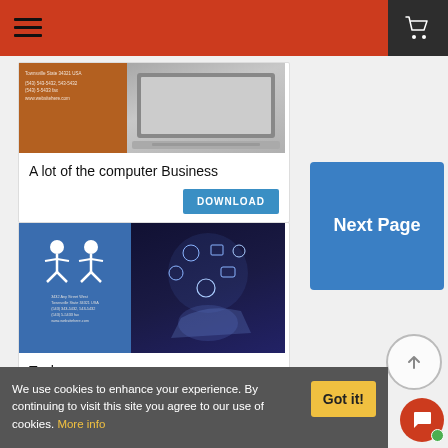Navigation header with hamburger menu and cart icon
[Figure (photo): Business card design with brown left panel showing address text and right panel showing laptop keyboard]
A lot of the computer Business
DOWNLOAD
[Figure (photo): Technology business card with blue left panel showing two people icons and address, right panel showing hands touching digital icons]
Techno -
Next Page
We use cookies to enhance your experience. By continuing to visit this site you agree to our use of cookies. More info
Got it!